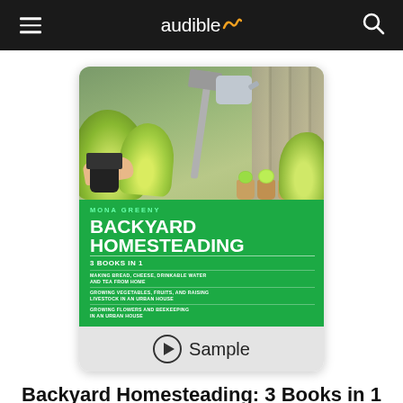audible
[Figure (illustration): Book cover for 'Backyard Homesteading: 3 Books in 1' by Mona Greeny on Audible, showing garden scene with lettuce plants and gardening tools on top half, green background with bold white title text on bottom half. Below the cover is a Sample play button bar.]
Backyard Homesteading: 3 Books in 1
Making Bread, Cheese, Drinkable Wa...